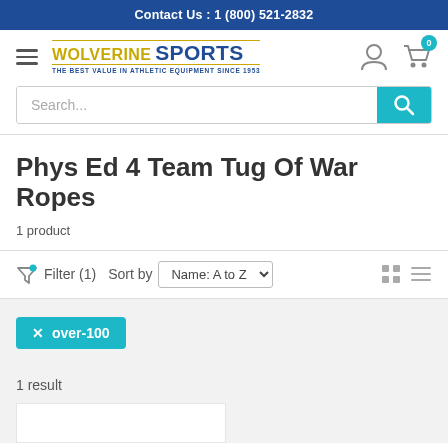Contact Us : 1 (800) 521-2832
[Figure (logo): Wolverine Sports logo with hamburger menu, user icon, and cart icon showing 0 items]
[Figure (screenshot): Search bar with placeholder text 'Search...' and cyan search button]
Phys Ed 4 Team Tug Of War Ropes
1 product
Filter (1)   Sort by  Name: A to Z
× over-100
1 result